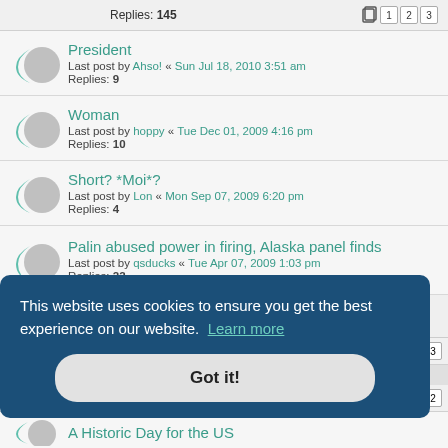Replies: 145
President
Last post by Ahso! « Sun Jul 18, 2010 3:51 am
Replies: 9
Woman
Last post by hoppy « Tue Dec 01, 2009 4:16 pm
Replies: 10
Short? *Moi*?
Last post by Lon « Mon Sep 07, 2009 6:20 pm
Replies: 4
Palin abused power in firing, Alaska panel finds
Last post by qsducks « Tue Apr 07, 2009 1:03 pm
Replies: 22
This website uses cookies to ensure you get the best experience on our website. Learn more
Got it!
A Historic Day for the US